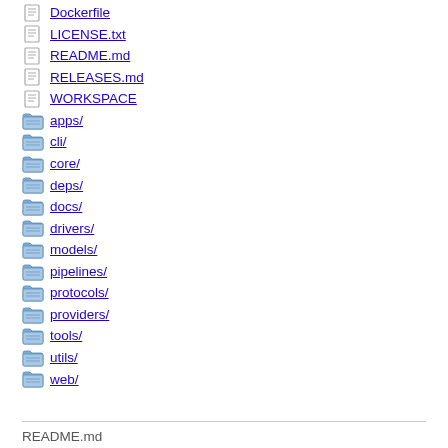Dockerfile
LICENSE.txt
README.md
RELEASES.md
WORKSPACE
apps/
cli/
core/
deps/
docs/
drivers/
models/
pipelines/
protocols/
providers/
tools/
utils/
web/
README.md